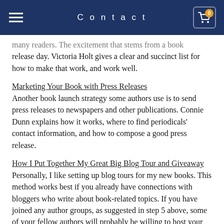Contact
many readers. The excitement that stems from a book release day. Victoria Holt gives a clear and succinct list for how to make that work, and work well.
Marketing Your Book with Press Releases
Another book launch strategy some authors use is to send press releases to newspapers and other publications. Connie Dunn explains how it works, where to find periodicals' contact information, and how to compose a good press release.
How I Put Together My Great Big Blog Tour and Giveaway
Personally, I like setting up blog tours for my new books. This method works best if you already have connections with bloggers who write about book-related topics. If you have joined any author groups, as suggested in step 5 above, some of your fellow authors will probably be willing to host your book. In this post, I explain the method I used to put together